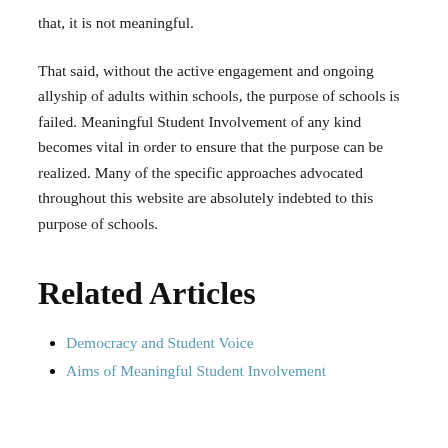that, it is not meaningful.
That said, without the active engagement and ongoing allyship of adults within schools, the purpose of schools is failed. Meaningful Student Involvement of any kind becomes vital in order to ensure that the purpose can be realized. Many of the specific approaches advocated throughout this website are absolutely indebted to this purpose of schools.
Related Articles
Democracy and Student Voice
Aims of Meaningful Student Involvement